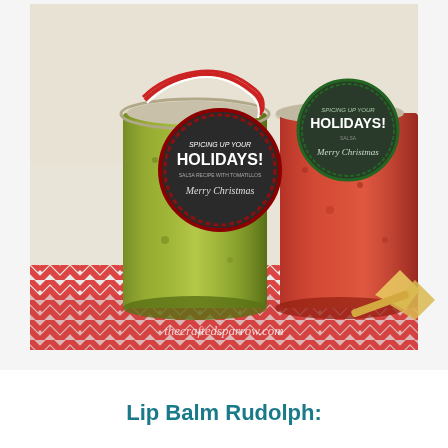[Figure (photo): Two mason jars of holiday salsa (one green tomatillo, one red) with decorative gift tags reading 'Spicing Up Your Holidays! Merry Christmas' tied with red and white twine, sitting on a red chevron cloth with tortilla chips. Watermark reads 'thecraftedsparrow.com'.]
Lip Balm Rudolph: